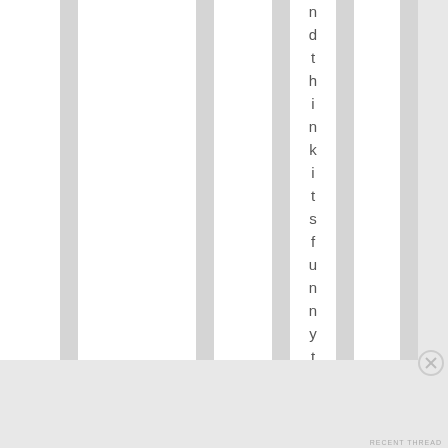ndthinkitsfunnyt o
Advertisements
[Figure (other): Play button icon (triangle) inside ads box]
[Figure (other): Close/dismiss button (X in circle)]
RECENT THREAD